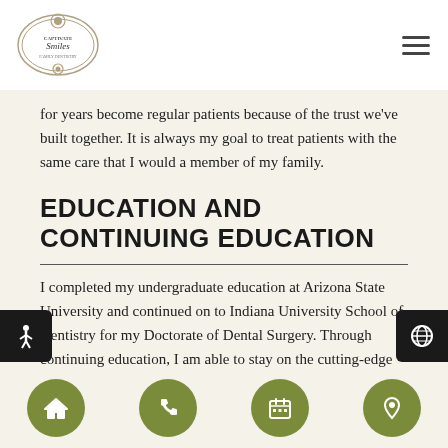Captivate Smiles logo and navigation menu
for years become regular patients because of the trust we've built together. It is always my goal to treat patients with the same care that I would a member of my family.
EDUCATION AND CONTINUING EDUCATION
I completed my undergraduate education at Arizona State University and continued on to Indiana University School of Dentistry for my Doctorate of Dental Surgery. Through continuing education, I am able to stay on the cutting-edge of current dental
Navigation buttons: home, phone, calendar, location